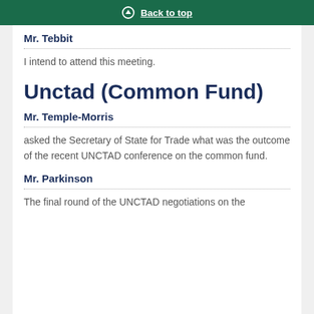Back to top
Mr. Tebbit
I intend to attend this meeting.
Unctad (Common Fund)
Mr. Temple-Morris
asked the Secretary of State for Trade what was the outcome of the recent UNCTAD conference on the common fund.
Mr. Parkinson
The final round of the UNCTAD negotiations on the